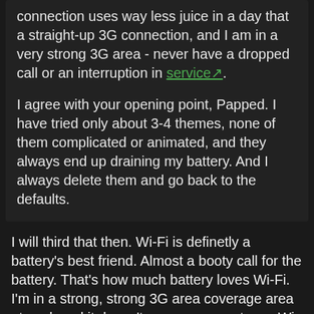connection uses way less juice in a day that a straight-up 3G connection, and I am in a very strong 3G area - never have a dropped call or an interruption in service.
I agree with your opening point, Papped. I have tried only about 3-4 themes, none of them complicated or animated, and they always end up draining my battery. And I always delete them and go back to the defaults.
I will third that then. Wi-Fi is definetly a battery's best friend. Almost a booty call for the battery. That's how much battery loves Wi-Fi. I'm in a strong, strong 3G area coverage area at work and it doesn't even compare to my Wi-Fi (DSL router).
As far as themes, I just stick with the original "Precision Silver" theme on both of my phones now.